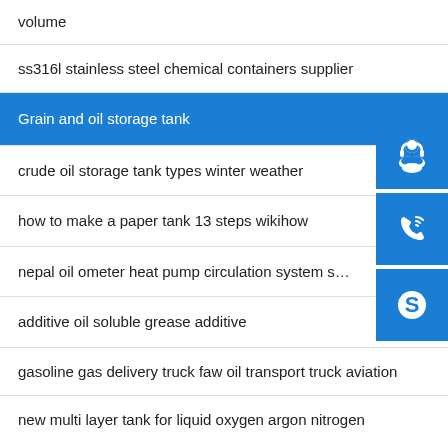volume
ss316l stainless steel chemical containers supplier
Grain and oil storage tank
crude oil storage tank types winter weather
how to make a paper tank 13 steps wikihow
nepal oil ometer heat pump circulation system s…
additive oil soluble grease additive
gasoline gas delivery truck faw oil transport truck aviation
new multi layer tank for liquid oxygen argon nitrogen